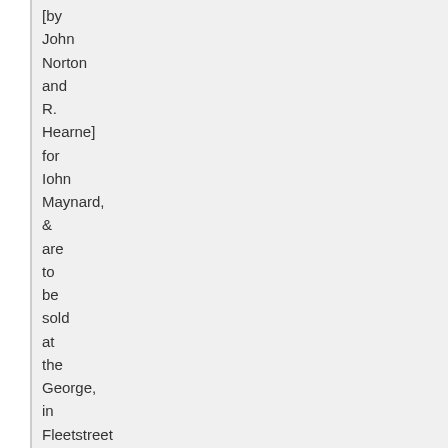[by John Norton and R. Hearne] for Iohn Maynard, & are to be sold at the George, in Fleetstreet neare St. Dunstans Church, 1640
Microform,
Book